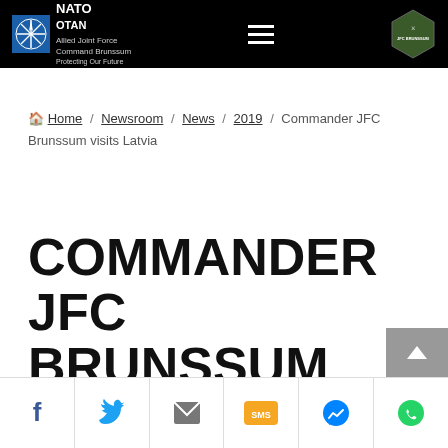NATO OTAN / JFC Brunssum - Navigation header
Home / Newsroom / News / 2019 / Commander JFC Brunssum visits Latvia
COMMANDER JFC BRUNSSUM VISITS LATVIA
Social sharing bar: Facebook, Twitter, Email, SMS, Messenger, WhatsApp